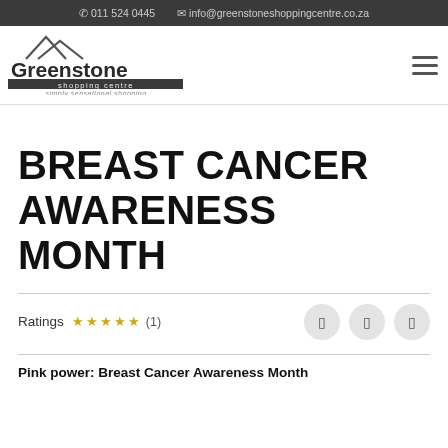011 524 0445  info@greenstoneshoppingcentre.co.za
[Figure (logo): Greenstone Shopping Centre logo — mountains outline above text 'Greenstone shopping centre' and tagline 'simply sensational shopping']
BREAST CANCER AWARENESS MONTH
Ratings ★★★★★ (1)
Pink power: Breast Cancer Awareness Month